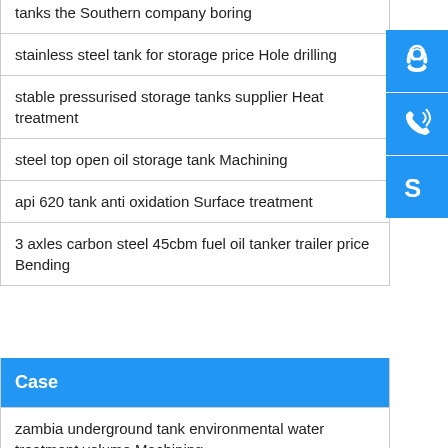tanks the Southern company boring
stainless steel tank for storage price Hole drilling
stable pressurised storage tanks supplier Heat treatment
steel top open oil storage tank Machining
api 620 tank anti oxidation Surface treatment
3 axles carbon steel 45cbm fuel oil tanker trailer price Bending
Case
zambia underground tank environmental water treatment volume Machining